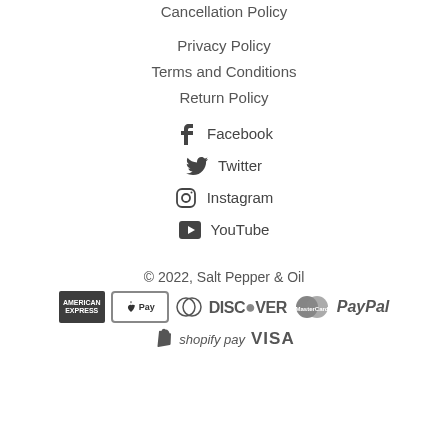Cancellation Policy
Privacy Policy
Terms and Conditions
Return Policy
Facebook
Twitter
Instagram
YouTube
© 2022, Salt Pepper & Oil
[Figure (logo): Payment method logos: American Express, Apple Pay, Diners Club, Discover, MasterCard, PayPal, Shopify Pay, Visa]